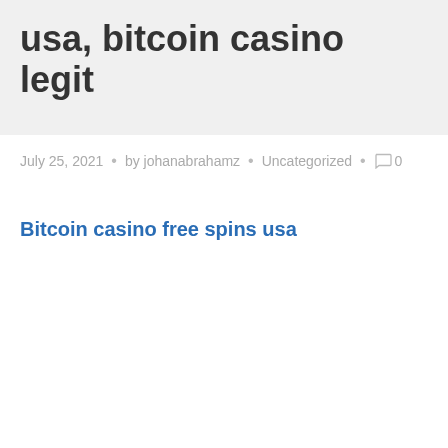usa, bitcoin casino legit
July 25, 2021 • by johanabrahamz • Uncategorized • 0
Bitcoin casino free spins usa